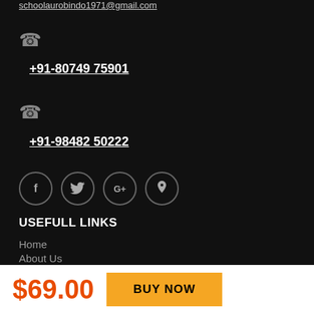schoolaurobindo1971@gmail.com
📞
+91-80749 75901
📞
+91-98482 50222
[Figure (infographic): Four social media icon circles: Facebook (f), Twitter (bird), Google+ (G+), Pinterest (P)]
USEFULL LINKS
Home
About Us
$69.00
BUY NOW